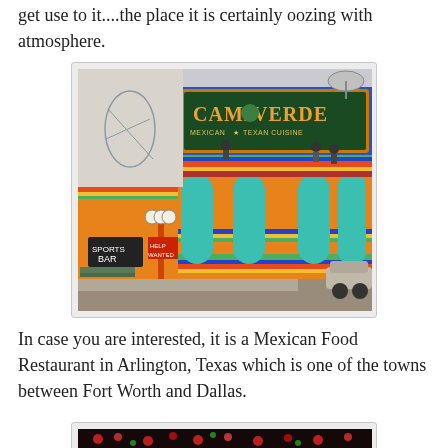get use to it....the place it is certainly oozing with atmosphere.
[Figure (photo): Exterior photo of Camp Verde Mexican & Texan Cuisine restaurant building in Arlington, Texas. The building has a colorful facade with orange, teal, green, red and blue horizontal stripes. The top has a large sign reading 'Camp Verde Mexican & Texan Cuisine'. There is a decorative lamp post in front and a car parked on the right side.]
In case you are interested, it is a Mexican Food Restaurant in Arlington, Texas which is one of the towns between Fort Worth and Dallas.
[Figure (photo): Interior photo of Camp Verde restaurant showing colorful lights and decor.]